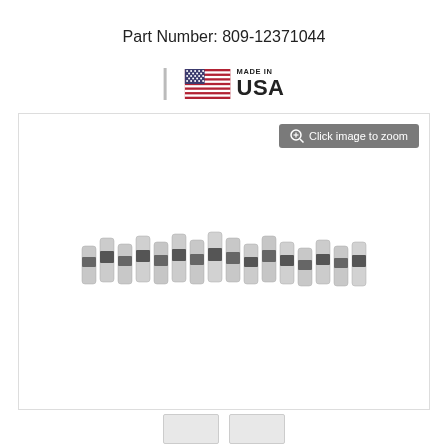Part Number: 809-12371044
[Figure (photo): Set of hydraulic valve lifters arranged in a row, chrome and dark grey cylindrical components, shown against white background. Made in USA badge displayed above image. Zoom button overlay in upper right.]